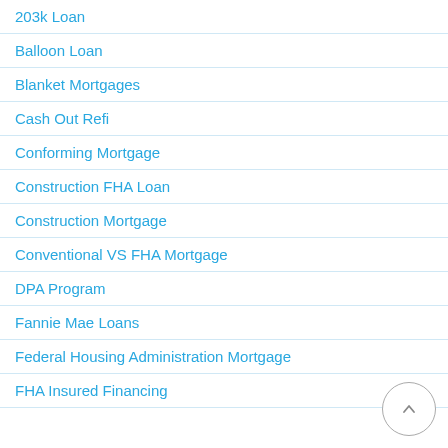203k Loan
Balloon Loan
Blanket Mortgages
Cash Out Refi
Conforming Mortgage
Construction FHA Loan
Construction Mortgage
Conventional VS FHA Mortgage
DPA Program
Fannie Mae Loans
Federal Housing Administration Mortgage
FHA Insured Financing